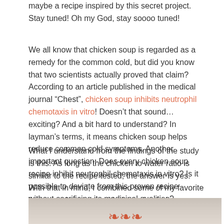maybe a recipe inspired by this secret project. Stay tuned! Oh my God, stay soooo tuned!
We all know that chicken soup is regarded as a remedy for the common cold, but did you know that two scientists actually proved that claim? According to an article published in the medical journal “Chest”, chicken soup inhibits neutrophil chemotaxis in vitro! Doesn’t that sound… exciting? And a bit hard to understand? In layman’s terms, it means chicken soup helps reduce common cold symptoms. Another important question: Does every chicken soup recipe inhibit neutrophil chemotaxis in vitro? Is it possible to deviate from this proven recipe without sacrificing its medicinal qualities?
What I understand from the findings of the study is this: As long as the chicken to water ratio is similar to the recipe tested, the answer is yes. With that in mind, I combined some of my favorite flavors and came up with the recipe below.
[Figure (photo): Partial photo of a bowl or dish, likely showing chicken soup or a related food item, with reddish decorative elements visible at the bottom]